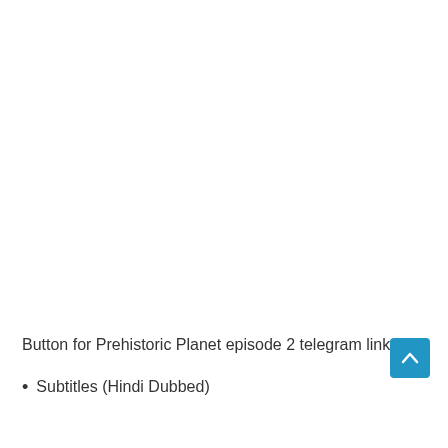Button for Prehistoric Planet episode 2 telegram link
Subtitles (Hindi Dubbed)